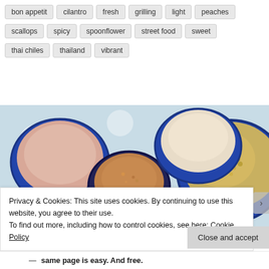bon appetit
cilantro
fresh
grilling
light
peaches
scallops
spicy
spoonflower
street food
sweet
thai chiles
thailand
vibrant
[Figure (photo): Food photo showing several ceramic bowls with sauces and fried rice on a blue polka-dot background]
Privacy & Cookies: This site uses cookies. By continuing to use this website, you agree to their use.
To find out more, including how to control cookies, see here: Cookie Policy
same page is easy. And free.